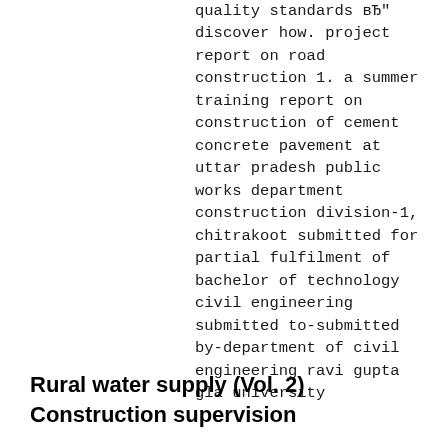quality standards вЂ" discover how. project report on road construction 1. a summer training report on construction of cement concrete pavement at uttar pradesh public works department construction division-1, chitrakoot submitted for partial fulfilment of bachelor of technology civil engineering submitted to-submitted by-department of civil engineering ravi gupta gla university
Rural water supply (Vol. 2) Construction supervision